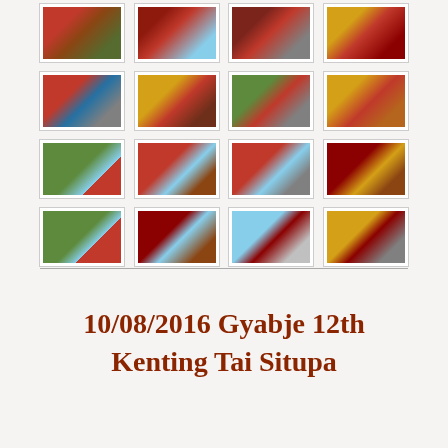[Figure (photo): Grid of 16 thumbnail photos showing Tibetan Buddhist monks including Gyabje 12th Kenting Tai Situpa at various events and ceremonies outdoors and indoors, arranged in 4 rows of 4 images]
10/08/2016  Gyabje 12th Kenting Tai Situpa